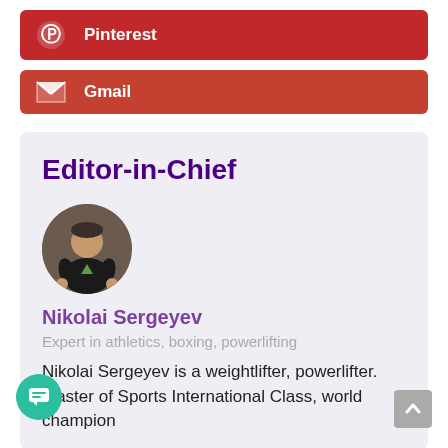[Figure (logo): Pinterest button with icon and label]
[Figure (logo): Gmail button with envelope icon and label]
Editor-in-Chief
[Figure (photo): Circular avatar photo of Nikolai Sergeyev, a muscular man in a black shirt in a gym]
Nikolai Sergeyev
Expert in athletics, boxing, powerlifting
Nikolai Sergeyev is a weightlifter, powerlifter. Master of Sports International Class, world champion